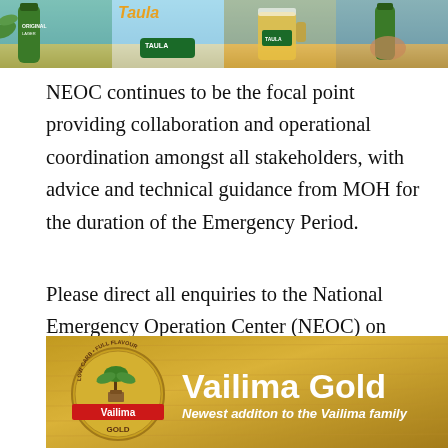[Figure (photo): Banner image showing Taula beer bottles and glasses on a beach/sunny background]
NEOC continues to be the focal point providing collaboration and operational coordination amongst all stakeholders, with advice and technical guidance from MOH for the duration of the Emergency Period.
Please direct all enquiries to the National Emergency Operation Center (NEOC) on telephone number 997, and 911 for Emergencies.
[Figure (photo): Vailima Gold beer advertisement: 'Vailima Gold - Newest additon to the Vailima family' with logo on a golden/sandy textured background]